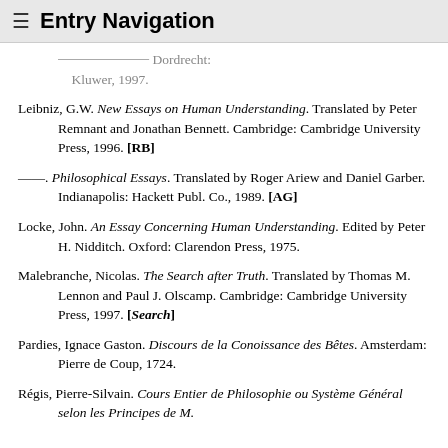≡ Entry Navigation
Translated by [obscured]. Dordrecht: Kluwer, 1997.
Leibniz, G.W. New Essays on Human Understanding. Translated by Peter Remnant and Jonathan Bennett. Cambridge: Cambridge University Press, 1996. [RB]
——. Philosophical Essays. Translated by Roger Ariew and Daniel Garber. Indianapolis: Hackett Publ. Co., 1989. [AG]
Locke, John. An Essay Concerning Human Understanding. Edited by Peter H. Nidditch. Oxford: Clarendon Press, 1975.
Malebranche, Nicolas. The Search after Truth. Translated by Thomas M. Lennon and Paul J. Olscamp. Cambridge: Cambridge University Press, 1997. [Search]
Pardies, Ignace Gaston. Discours de la Conoissance des Bêtes. Amsterdam: Pierre de Coup, 1724.
Régis, Pierre-Silvain. Cours Entier de Philosophie ou Système Général selon les Principes de M.